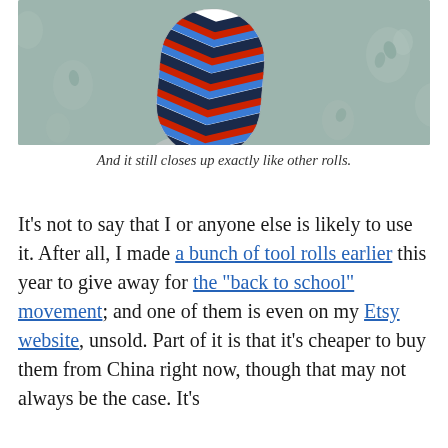[Figure (photo): A rolled fabric with red, white, blue, and dark navy chevron/zigzag pattern lying on a floral background fabric]
And it still closes up exactly like other rolls.
It’s not to say that I or anyone else is likely to use it. After all, I made a bunch of tool rolls earlier this year to give away for the “back to school” movement; and one of them is even on my Etsy website, unsold. Part of it is that it’s cheaper to buy them from China right now, though that may not always be the case. It’s